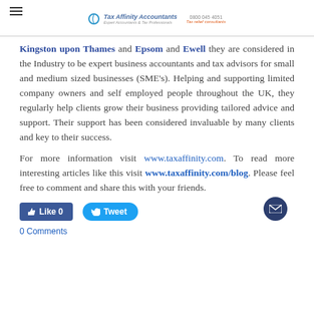Tax Affinity Accountants logo and navigation header
Kingston upon Thames and Epsom and Ewell they are considered in the Industry to be expert business accountants and tax advisors for small and medium sized businesses (SME's). Helping and supporting limited company owners and self employed people throughout the UK, they regularly help clients grow their business providing tailored advice and support. Their support has been considered invaluable by many clients and key to their success.
For more information visit www.taxaffinity.com. To read more interesting articles like this visit www.taxaffinity.com/blog. Please feel free to comment and share this with your friends.
Like 0   Tweet
0 Comments